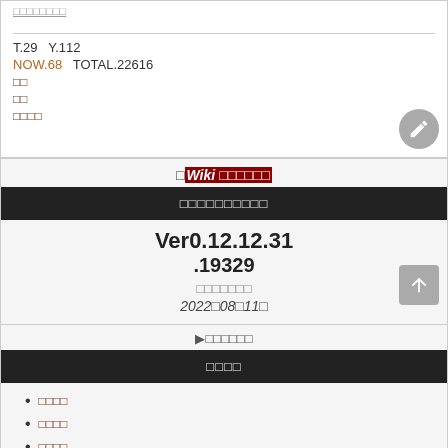T.29  Y.112
NOW.68  TOTAL.22616
□□
□□
□□□□
□Wiki□□□□□□□
□□□□□□□□□□
Ver0.12.12.31
.19329
□□□□□□□
2022□08□11□
▶□□□□□□
□□□□
□□□□
□□□□
□□□□
□□□□□□□□
□□□□□□